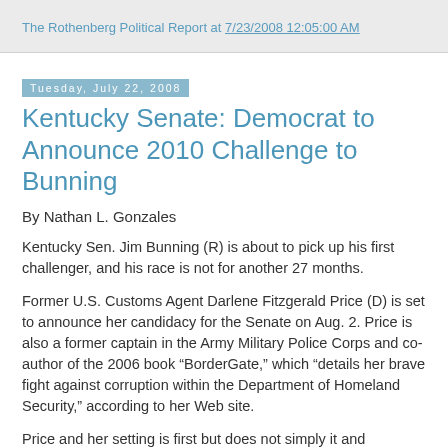The Rothenberg Political Report at 7/23/2008 12:05:00 AM
Tuesday, July 22, 2008
Kentucky Senate: Democrat to Announce 2010 Challenge to Bunning
By Nathan L. Gonzales
Kentucky Sen. Jim Bunning (R) is about to pick up his first challenger, and his race is not for another 27 months.
Former U.S. Customs Agent Darlene Fitzgerald Price (D) is set to announce her candidacy for the Senate on Aug. 2. Price is also a former captain in the Army Military Police Corps and co-author of the 2006 book “BorderGate,” which “details her brave fight against corruption within the Department of Homeland Security,” according to her Web site.
Price and her setting is first but does not simply it and...